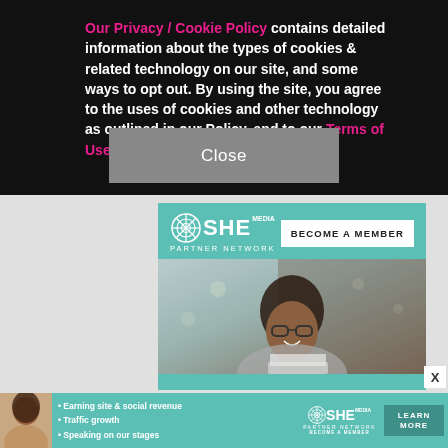Our Privacy / Cookie Policy contains detailed information about the types of cookies & related technology on our site, and some ways to opt out. By using the site, you agree to the uses of cookies and other technology as outlined in our Policy, and to our Terms of Use
[Figure (screenshot): Close button (grey rectangular button with white text 'Close')]
[Figure (illustration): SHE Media Partner Network advertisement banner with 'BECOME A MEMBER' button, photo of smiling woman with glasses using laptop, text 'WE HELP CONTENT CREATORS GROW BUSINESSES THROUGH...' and 'LEARN MORE' button]
[Figure (illustration): Bottom banner ad for SHE Media Partner Network showing bullet points: Earning site & social revenue, Traffic growth, Speaking on our stages, with SHE Media logo and LEARN MORE button]